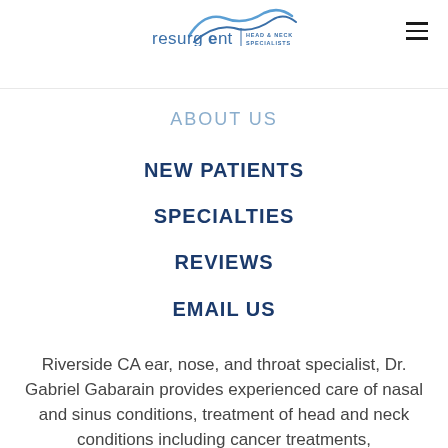[Figure (logo): Resurgent Head & Neck Specialists logo with stylized wave/swoosh above the text]
ABOUT US
NEW PATIENTS
SPECIALTIES
REVIEWS
EMAIL US
Riverside CA ear, nose, and throat specialist, Dr. Gabriel Gabarain provides experienced care of nasal and sinus conditions, treatment of head and neck conditions including cancer treatments,